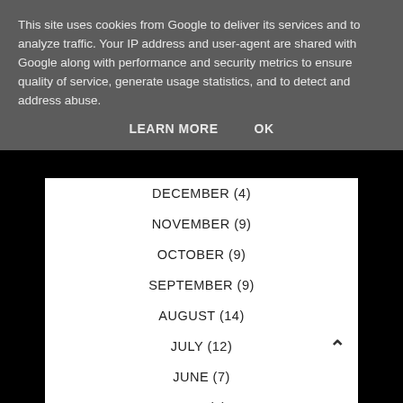This site uses cookies from Google to deliver its services and to analyze traffic. Your IP address and user-agent are shared with Google along with performance and security metrics to ensure quality of service, generate usage statistics, and to detect and address abuse.
LEARN MORE   OK
DECEMBER (4)
NOVEMBER (9)
OCTOBER (9)
SEPTEMBER (9)
AUGUST (14)
JULY (12)
JUNE (7)
MAY (4)
APRIL (5)
MARCH (10)
FEBRUARY (11)